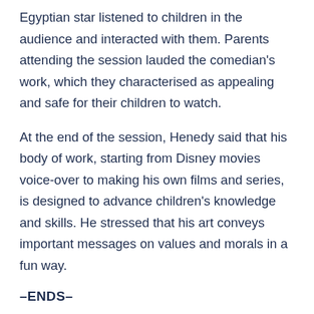Egyptian star listened to children in the audience and interacted with them. Parents attending the session lauded the comedian's work, which they characterised as appealing and safe for their children to watch.
At the end of the session, Henedy said that his body of work, starting from Disney movies voice-over to making his own films and series, is designed to advance children's knowledge and skills. He stressed that his art conveys important messages on values and morals in a fun way.
–ENDS–
Like this: